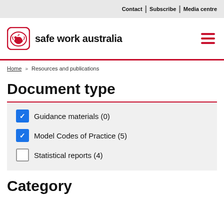Contact | Subscribe | Media centre
[Figure (logo): Safe Work Australia logo with kangaroo icon and text 'safe work australia']
Home » Resources and publications
Document type
☑ Guidance materials (0)
☑ Model Codes of Practice (5)
☐ Statistical reports (4)
Category